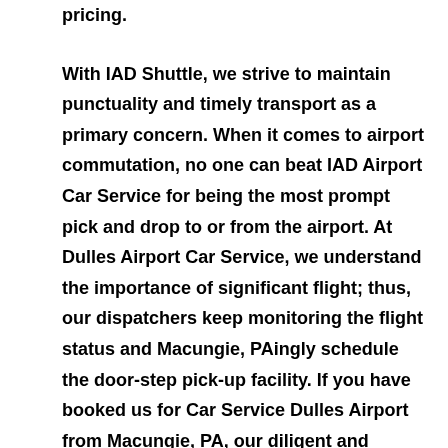pricing.
With IAD Shuttle, we strive to maintain punctuality and timely transport as a primary concern. When it comes to airport commutation, no one can beat IAD Airport Car Service for being the most prompt pick and drop to or from the airport. At Dulles Airport Car Service, we understand the importance of significant flight; thus, our dispatchers keep monitoring the flight status and Macungie, PAingly schedule the door-step pick-up facility. If you have booked us for Car Service Dulles Airport from Macungie, PA, our diligent and knowledgeable driver, make sure to pick the shortest route possible for your convenient and timely transit.